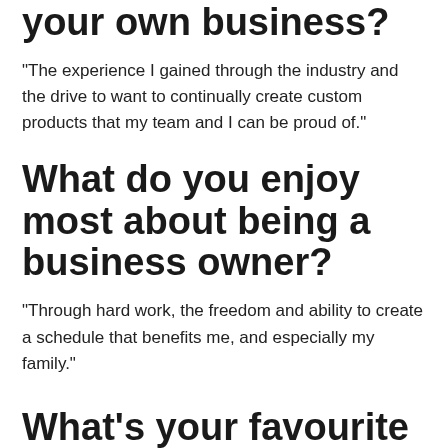What motivated you to start your own business?
“The experience I gained through the industry and the drive to want to continually create custom products that my team and I can be proud of.”
What do you enjoy most about being a business owner?
“Through hard work, the freedom and ability to create a schedule that benefits me, and especially my family.”
What’s your favourite part